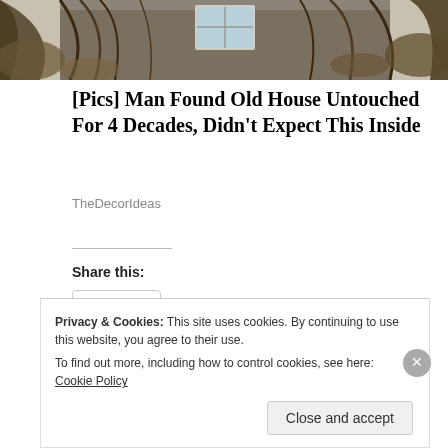[Figure (photo): Top portion of a photograph showing an old overgrown house with bare tree branches and bushes covering the facade, with a white window visible]
[Pics] Man Found Old House Untouched For 4 Decades, Didn't Expect This Inside
TheDecorIdeas
Share this:
Share
Loading...
Privacy & Cookies: This site uses cookies. By continuing to use this website, you agree to their use. To find out more, including how to control cookies, see here: Cookie Policy
Close and accept